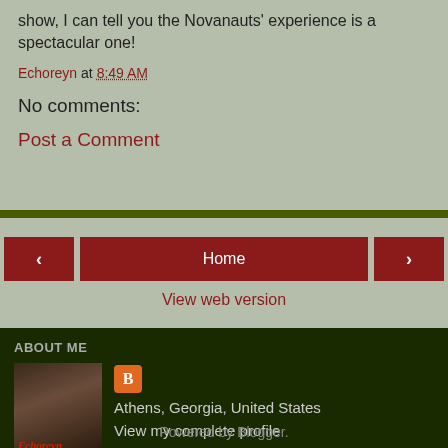The feeling is in the experience. And after seeing their first show, I can tell you the Novanauts' experience is a spectacular one!
Echoreyn at 8:49 AM
No comments:
Post a Comment
< Home >
View web version
ABOUT ME
[Figure (photo): Profile photo of Echoreyn with blogger icon]
Athens, Georgia, United States
View my complete profile
Powered by Blogger.